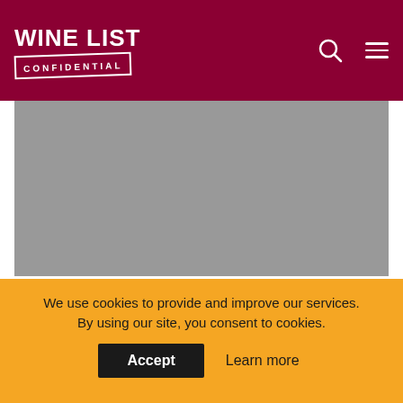WINE LIST CONFIDENTIAL
[Figure (photo): Gray placeholder image for article hero photo]
London's Cheapest Michelin Star Meals Revealed
We use cookies to provide and improve our services. By using our site, you consent to cookies. Accept  Learn more